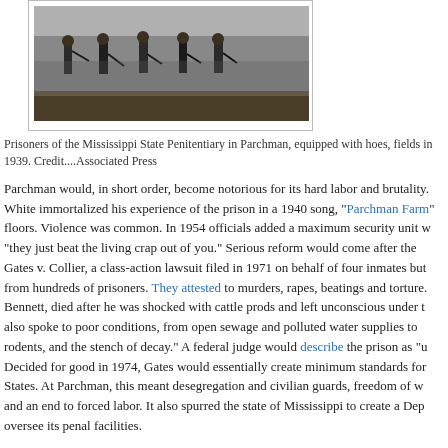[Figure (photo): Black and white photograph of prisoners of the Mississippi State Penitentiary in Parchman, equipped with hoes, working in fields in 1939.]
Prisoners of the Mississippi State Penitentiary in Parchman, equipped with hoes, fields in 1939.  Credit....Associated Press
Parchman would, in short order, become notorious for its hard labor and brutality. White immortalized his experience of the prison in a 1940 song, "Parchman Farm". floors. Violence was common. In 1954 officials added a maximum security unit w "they just beat the living crap out of you." Serious reform would come after the Gates v. Collier, a class-action lawsuit filed in 1971 on behalf of four inmates but from hundreds of prisoners. They attested to murders, rapes, beatings and torture. Bennett, died after he was shocked with cattle prods and left unconscious under t also spoke to poor conditions, from open sewage and polluted water supplies to rodents, and the stench of decay." A federal judge would describe the prison as "u Decided for good in 1974, Gates would essentially create minimum standards for States. At Parchman, this meant desegregation and civilian guards, freedom of w and an end to forced labor. It also spurred the state of Mississippi to create a Dep oversee its penal facilities.
But reform had limits. New facilities and professional staff doesn't change the fa confinement, where society isolates many of its least-wanted and most vulnerable according to a report from the American Civil Liberties Union, death row prisone Mississippi State Penitentiary — reported "profound isolation, unrelieved idlenes exercise, intolerable stench and pervasive filth, grossly malfunctioning plumbing human excrement." H.I.V. positive prisoners in the general population told law